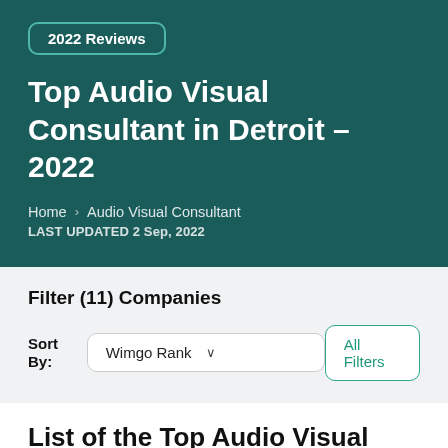2022 Reviews
Top Audio Visual Consultant in Detroit – 2022
Home > Audio Visual Consultant
LAST UPDATED 2 Sep, 2022
Filter (11) Companies
Sort By: Wimgo Rank
All Filters
List of the Top Audio Visual Consultant in Detroit